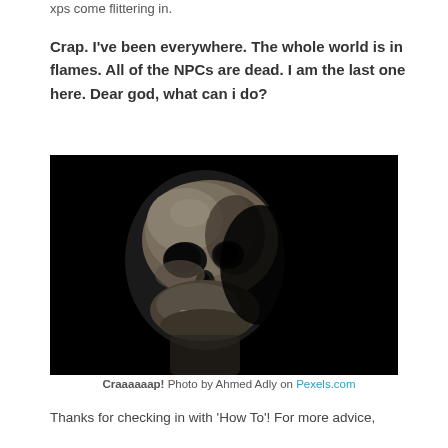xps come flittering in.
Crap. I've been everywhere. The whole world is in flames. All of the NPCs are dead. I am the last one here. Dear god, what can i do?
[Figure (photo): Black and white photo of a human skull against a dark black background, photographed from a slight angle showing the left side of the skull's face.]
Craaaaaap! Photo by Ahmed Adly on Pexels.com
Thanks for checking in with 'How To'! For more advice,